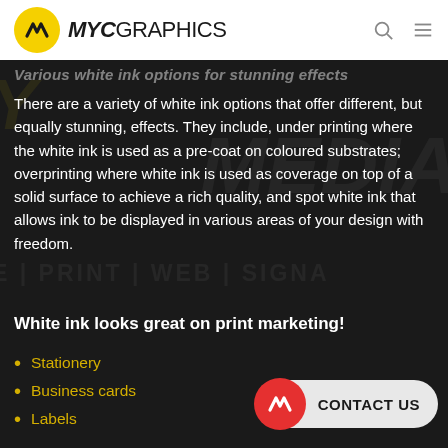MYC GRAPHICS
Various white ink options for stunning effects
There are a variety of white ink options that offer different, but equally stunning, effects. They include, under printing where the white ink is used as a pre-coat on coloured substrates; overprinting where white ink is used as coverage on top of a solid surface to achieve a rich quality, and spot white ink that allows ink to be displayed in various areas of your design with freedom.
White ink looks great on print marketing!
Stationery
Business cards
Labels